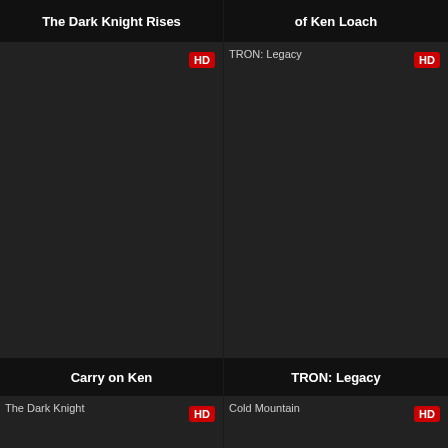[Figure (screenshot): Movie card title bar: The Dark Knight Rises]
[Figure (screenshot): Movie card title bar: of Ken Loach]
[Figure (screenshot): Movie card: Carry on Ken with HD badge and broken image TRON: Legacy]
[Figure (screenshot): Movie card: TRON: Legacy with HD badge]
[Figure (screenshot): Movie card: The Dark Knight with HD badge (broken image)]
[Figure (screenshot): Movie card: Cold Mountain with HD badge (broken image)]